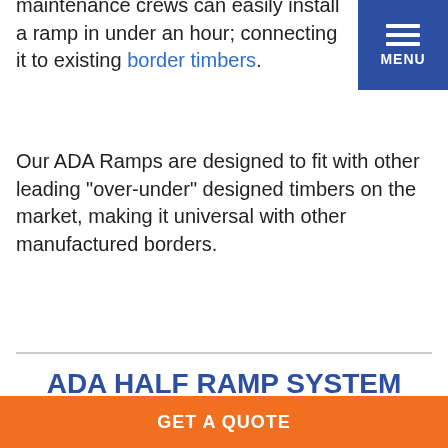maintenance crews can easily install a ramp in under an hour; connecting it to existing border timbers.
[Figure (other): Navigation menu button (blue square with three horizontal white lines and 'MENU' text)]
Our ADA Ramps are designed to fit with other leading "over-under" designed timbers on the market, making it universal with other manufactured borders.
ADA HALF RAMP SYSTEM FOR 8" BORDER TIMBERS
DIMENSIONS: 60"L X 43"W
SKU: 2BY2FMR8 (WITH STEEL SPIKES)
SKU: 2BY2FMR8-F (WITH FLEX SPIKES)
INCLUDES: (5) SPIKES & (2) END CAPS
GET A QUOTE